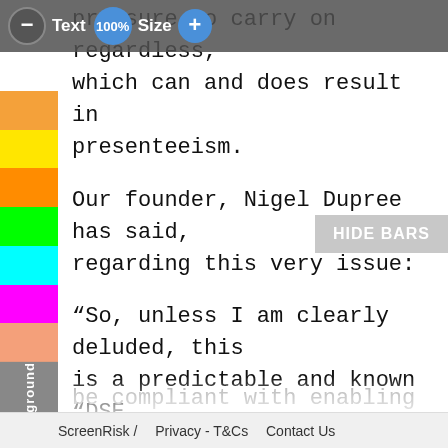[Figure (screenshot): App toolbar with minus button, Text label, 100% circle button, Size label, and plus button on dark background]
pressure to carry on regardless, which can and does result in presenteeism.
Our founder, Nigel Dupree has said, regarding this very issue:
“So, unless I am clearly deluded, this is a predictable and known “DSE Product Safety issue” and, expediently ignoring occupational health regulations and omitting to be compliant with enabling employees to make reasonable…
ScreenRisk /   Privacy - T&Cs   Contact Us